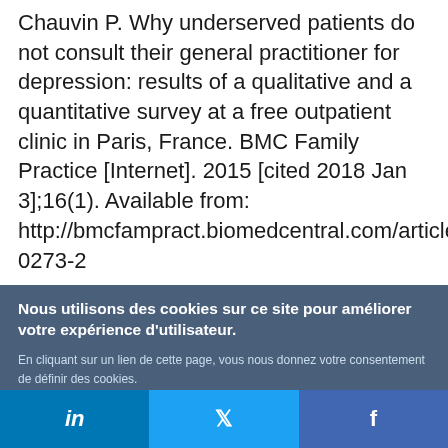Chauvin P. Why underserved patients do not consult their general practitioner for depression: results of a qualitative and a quantitative survey at a free outpatient clinic in Paris, France. BMC Family Practice [Internet]. 2015 [cited 2018 Jan 3];16(1). Available from: http://bmcfampract.biomedcentral.com/articles/1015-0273-2
Nous utilisons des cookies sur ce site pour améliorer votre expérience d'utilisateur.
En cliquant sur un lien de cette page, vous nous donnez votre consentement de définir des cookies.
Oui, je suis d'accord
Plus d'infos
[Figure (other): Social media share bar with LinkedIn, Twitter, and Facebook buttons]